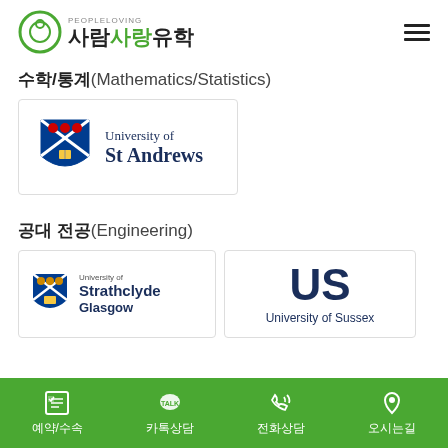PEOPLELOVING 사람사랑유학
수학/통계(Mathematics/Statistics)
[Figure (logo): University of St Andrews logo with shield crest]
공대 전공(Engineering)
[Figure (logo): University of Strathclyde Glasgow logo with shield crest]
[Figure (logo): University of Sussex logo with US letters]
예약/수속  카톡상담  전화상담  오시는길